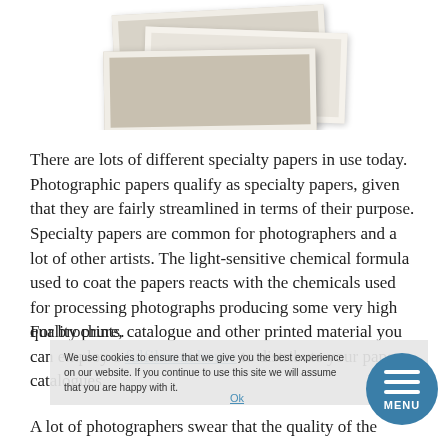[Figure (photo): Stack of photographic prints/papers shown from above, slightly overlapping with torn or deckled edges, in cream and gray tones]
There are lots of different specialty papers in use today. Photographic papers qualify as specialty papers, given that they are fairly streamlined in terms of their purpose. Specialty papers are common for photographers and a lot of other artists. The light-sensitive chemical formula used to coat the papers reacts with the chemicals used for processing photographs producing some very high quality prints.
For brochure, catalogue and other printed material you can employ a fulfilment house to distribute your paper catalogues.
A lot of photographers swear that the quality of the